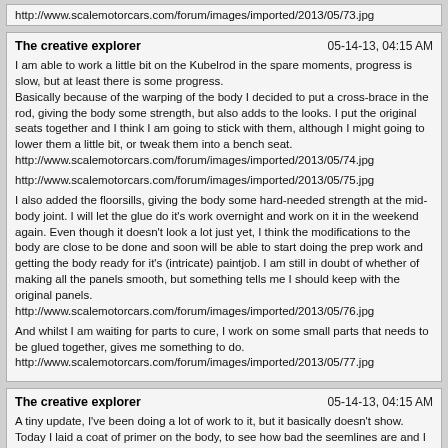http://www.scalemotorcars.com/forum/images/imported/2013/05/73.jpg
The creative explorer
05-14-13, 04:15 AM
I am able to work a little bit on the Kubelrod in the spare moments, progress is slow, but at least there is some progress.
Basically because of the warping of the body I decided to put a cross-brace in the rod, giving the body some strength, but also adds to the looks. I put the original seats together and I think I am going to stick with them, although I might going to lower them a little bit, or tweak them into a bench seat.
http://www.scalemotorcars.com/forum/images/imported/2013/05/74.jpg

http://www.scalemotorcars.com/forum/images/imported/2013/05/75.jpg

I also added the floorsills, giving the body some hard-needed strength at the mid-body joint. I will let the glue do it's work overnight and work on it in the weekend again. Even though it doesn't look a lot just yet, I think the modifications to the body are close to be done and soon will be able to start doing the prep work and getting the body ready for it's (intricate) paintjob. I am still in doubt of whether of making all the panels smooth, but something tells me I should keep with the original panels.
http://www.scalemotorcars.com/forum/images/imported/2013/05/76.jpg

And whilst I am waiting for parts to cure, I work on some small parts that needs to be glued together, gives me something to do.
http://www.scalemotorcars.com/forum/images/imported/2013/05/77.jpg
The creative explorer
05-14-13, 04:15 AM
A tiny update, I've been doing a lot of work to it, but it basically doesn't show. Today I laid a coat of primer on the body, to see how bad the seemlines are and I keep having problems with it. I put back some bondo on it again and I guess I got my work cut out for the weekend.

http://www.scalemotorcars.com/forum/images/imported/2013/05/78.jpg